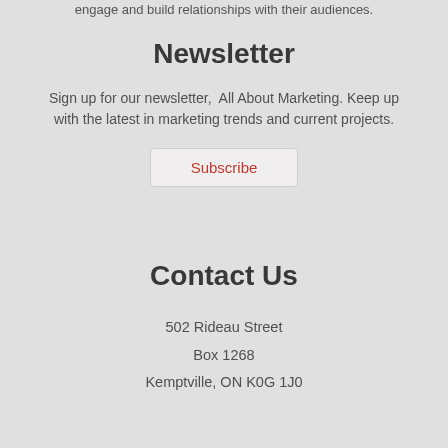engage and build relationships with their audiences.
Newsletter
Sign up for our newsletter,  All About Marketing. Keep up with the latest in marketing trends and current projects.
Subscribe
Contact Us
502 Rideau Street
Box 1268
Kemptville, ON K0G 1J0